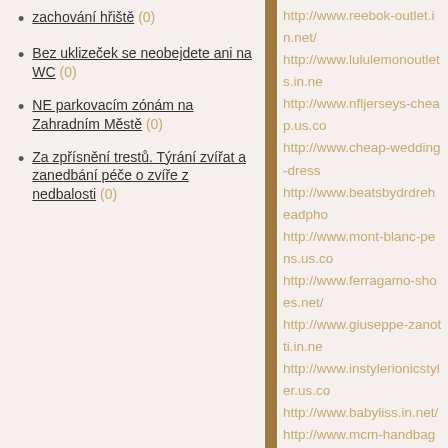zachování hřiště (0)
Bez uklizeček se neobejdete ani na WC (0)
NE parkovacím zónám na Zahradním Městě (0)
Za zpřísnění trestů. Týrání zvířat a zanedbání péče o zvíře z nedbalosti (0)
http://www.reebok-outlet.in.net/
http://www.lululemonoutlets.in.net/
http://www.nfljerseys-cheap.us.com/
http://www.cheap-wedding-dresses...
http://www.beatsbydrdreheadpho...
http://www.mont-blanc-pens.us.co...
http://www.ferragamo-shoes.net/
http://www.giuseppe-zanotti.in.net/
http://www.instylerionicstyler.us.co...
http://www.babyliss.in.net/
http://www.mcm-handbags.net/
http://www.chiflatiron.cn.com/
http://www.insanityworkout.in.net/
http://www.ghd-hair-straighteners...
http://www.bottegaveneta-handba...
http://www.valentino-shoes.us.co...
http://www.herveleger.us/
http://www.asicso.com/
http://www.soccer--shoes.net/
http://www.soccerjerseys.com.co/
http://www.celine-handbags.org/
http://www.p90x3workout.us.com/
http://www.jimmy-choo-shoes.us....
http://www.hollister-clothingstore...
http://www.nike-airmax.nl/
http://www.baseball-bats.us/
http://www.phonecases.us.com/
http://www.timberland-boots.us/